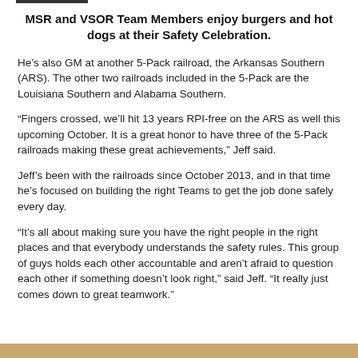MSR and VSOR Team Members enjoy burgers and hot dogs at their Safety Celebration.
He's also GM at another 5-Pack railroad, the Arkansas Southern (ARS). The other two railroads included in the 5-Pack are the Louisiana Southern and Alabama Southern.
“Fingers crossed, we’ll hit 13 years RPI-free on the ARS as well this upcoming October. It is a great honor to have three of the 5-Pack railroads making these great achievements,” Jeff said.
Jeff’s been with the railroads since October 2013, and in that time he’s focused on building the right Teams to get the job done safely every day.
“It’s all about making sure you have the right people in the right places and that everybody understands the safety rules. This group of guys holds each other accountable and aren’t afraid to question each other if something doesn’t look right,” said Jeff. “It really just comes down to great teamwork.”